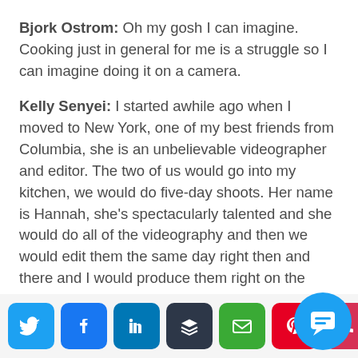Bjork Ostrom: Oh my gosh I can imagine. Cooking just in general for me is a struggle so I can imagine doing it on a camera.
Kelly Senyei: I started awhile ago when I moved to New York, one of my best friends from Columbia, she is an unbelievable videographer and editor. The two of us would go into my kitchen, we would do five-day shoots. Her name is Hannah, she's spectacularly talented and she would do all of the videography and then we would edit them the same day right then and there and I would produce them right on the spot.
We would shoot a five, six, sometimes sev...
[Figure (other): Social sharing bar with icons for Twitter, Facebook, LinkedIn, Buffer, Email, Pinterest, and Phone/Other. A circular chat bubble icon appears at bottom right.]